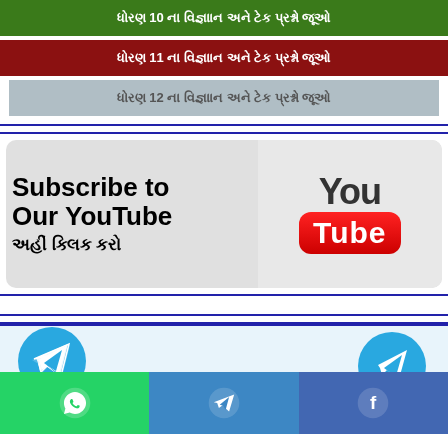ધોરણ 10 ના વિજ્ઞાન અને ટેક પ્રશ્નો જૂઓ
ધોરણ 11 ના વિજ્ઞાાન અને ટેક પ્રશ્નો જૂઓ
ધોરણ 12 ના વિજ્ઞાાન અને ટેક પ્રશ્નો જૂઓ
[Figure (infographic): Subscribe to Our YouTube banner with YouTube logo and Gujarati text 'અહીં ક્લિક કરો']
[Figure (infographic): Telegram channel icons and social share bar with WhatsApp, Telegram, Facebook buttons]